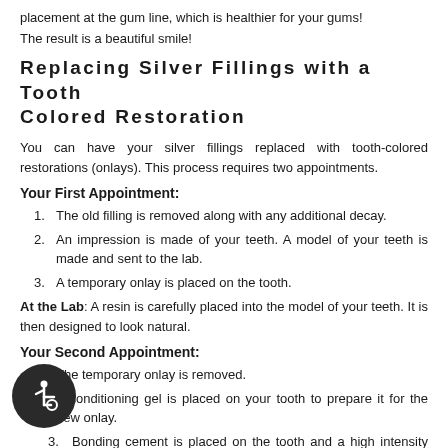placement at the gum line, which is healthier for your gums!
The result is a beautiful smile!
Replacing Silver Fillings with a Tooth Colored Restoration
You can have your silver fillings replaced with tooth-colored restorations (onlays). This process requires two appointments.
Your First Appointment:
The old filling is removed along with any additional decay.
An impression is made of your teeth. A model of your teeth is made and sent to the lab.
A temporary onlay is placed on the tooth.
At the Lab: A resin is carefully placed into the model of your teeth. It is then designed to look natural.
Your Second Appointment:
The temporary onlay is removed.
A conditioning gel is placed on your tooth to prepare it for the new onlay.
Bonding cement is placed on the tooth and a high intensity light bonds the resin to the tooth.